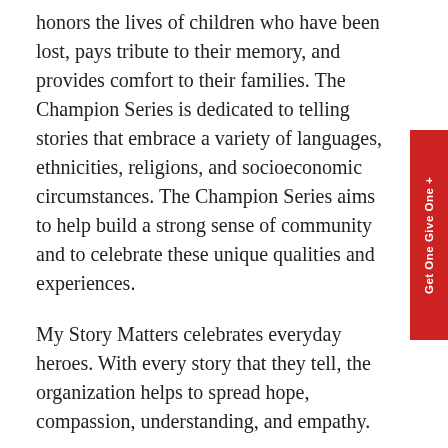honors the lives of children who have been lost, pays tribute to their memory, and provides comfort to their families. The Champion Series is dedicated to telling stories that embrace a variety of languages, ethnicities, religions, and socioeconomic circumstances. The Champion Series aims to help build a strong sense of community and to celebrate these unique qualities and experiences.
My Story Matters celebrates everyday heroes. With every story that they tell, the organization helps to spread hope, compassion, understanding, and empathy.
As a charity organization, My Story Matters benefits from its generous donors and volunteers, who provide the resources needed to give voices to these awe-inspiring stories. It's impossible to not feel touched by the stories, whether you are helping to create them or the recipient of